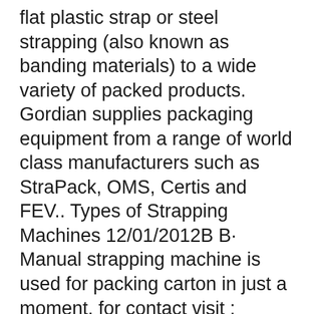flat plastic strap or steel strapping (also known as banding materials) to a wide variety of packed products. Gordian supplies packaging equipment from a range of world class manufacturers such as StraPack, OMS, Certis and FEV.. Types of Strapping Machines 12/01/2012B B· Manual strapping machine is used for packing carton in just a moment. for contact visit : khajoobhai.pk/contact.htm.
16/02/2015B B· Dear Friends This is Sheikh Abdul Rehman We are Manufacturer, Importer, Exporter and supplier of packaging Machine and Packaging Material; We have many Units in Pakistan, We are Dealing In